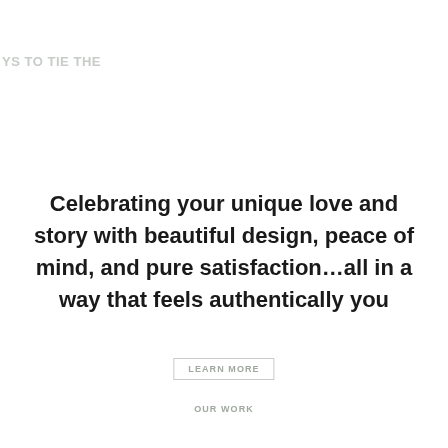YS TO TIE THE
Celebrating your unique love and story with beautiful design, peace of mind, and pure satisfaction…all in a way that feels authentically you
LEARN MORE
OUR WORK